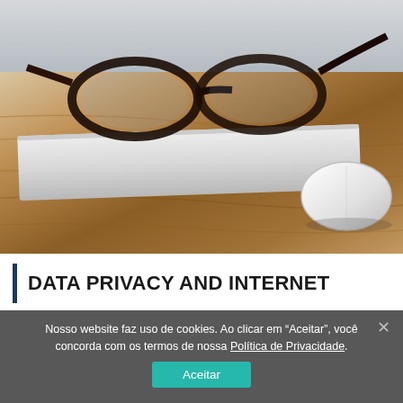[Figure (photo): Photo of glasses resting on a closed silver laptop and a white Apple Magic Mouse on a wooden desk surface]
DATA PRIVACY AND INTERNET
Nosso website faz uso de cookies. Ao clicar em “Aceitar”, você concorda com os termos de nossa Política de Privacidade.
Aceitar